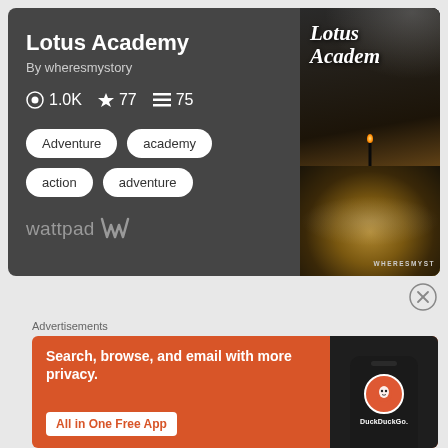[Figure (screenshot): Wattpad book card for 'Lotus Academy' by wheresmystory showing stats: 1.0K views, 77 stars, 75 parts, with tags Adventure, academy, action, adventure, and the wattpad logo. Right side shows book cover image with dark background, smoke effect, lotus flower with candle, and 'WHERESMYST' text at bottom.]
Lotus Academy
By wheresmystory
1.0K   77   75
Adventure
academy
action
adventure
[Figure (logo): wattpad W logo in grey]
[Figure (other): Close/X button circle icon]
Advertisements
[Figure (screenshot): DuckDuckGo advertisement banner with orange background. Text: 'Search, browse, and email with more privacy.' CTA: 'All in One Free App'. Right side shows phone mockup with DuckDuckGo logo and DuckDuckGo. text.]